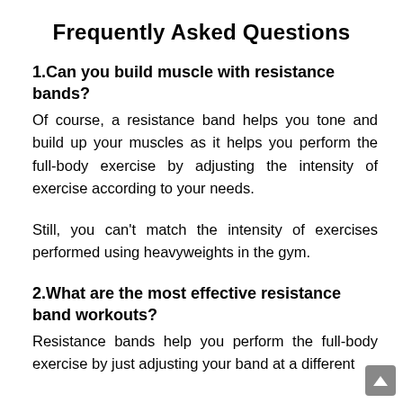Frequently Asked Questions
1.Can you build muscle with resistance bands?
Of course, a resistance band helps you tone and build up your muscles as it helps you perform the full-body exercise by adjusting the intensity of exercise according to your needs.
Still, you can't match the intensity of exercises performed using heavyweights in the gym.
2.What are the most effective resistance band workouts?
Resistance bands help you perform the full-body exercise by just adjusting your band at a different